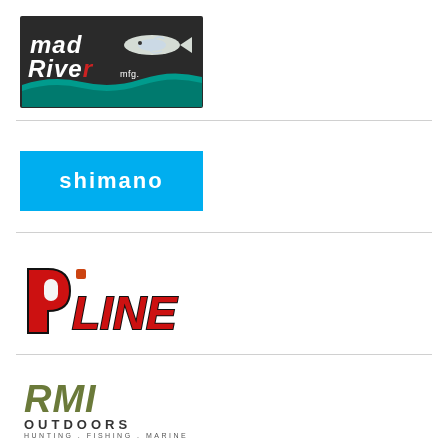[Figure (logo): Mad River mfg. logo — dark background with teal/white stylized text and a fish illustration]
[Figure (logo): Shimano logo — cyan/blue rectangle with white lowercase SHIMANO text]
[Figure (logo): P-Line fishing logo — bold italic red and black text with outlined lettering]
[Figure (logo): RMI Outdoors logo — italic olive/army green RMI text with OUTDOORS and HUNTING . FISHING . MARINE subtitle]